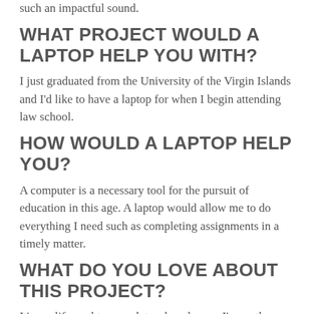such an impactful sound.
WHAT PROJECT WOULD A LAPTOP HELP YOU WITH?
I just graduated from the University of the Virgin Islands and I'd like to have a laptop for when I begin attending law school.
HOW WOULD A LAPTOP HELP YOU?
A computer is a necessary tool for the pursuit of education in this age. A laptop would allow me to do everything I need such as completing assignments in a timely matter.
WHAT DO YOU LOVE ABOUT THIS PROJECT?
It's my life goal to complete a law degree. I'm on the right track having completed my BA in Criminal Justice. But with a laptop I'll be one step closer.